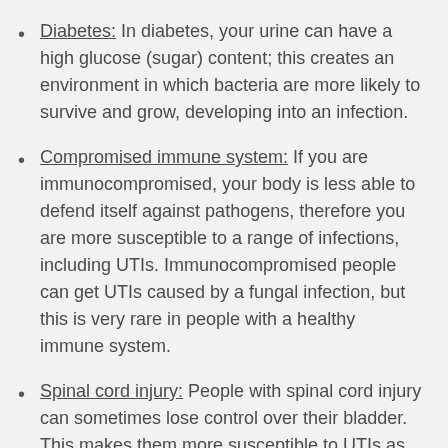Diabetes: In diabetes, your urine can have a high glucose (sugar) content; this creates an environment in which bacteria are more likely to survive and grow, developing into an infection.
Compromised immune system: If you are immunocompromised, your body is less able to defend itself against pathogens, therefore you are more susceptible to a range of infections, including UTIs. Immunocompromised people can get UTIs caused by a fungal infection, but this is very rare in people with a healthy immune system.
Spinal cord injury: People with spinal cord injury can sometimes lose control over their bladder. This makes them more susceptible to UTIs as they may need to use a catheter (a tube inserted through the urethra into the